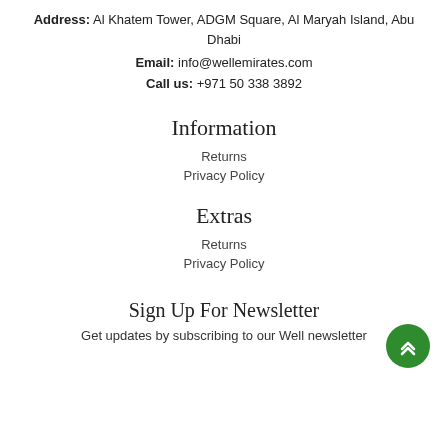Address: Al Khatem Tower, ADGM Square, Al Maryah Island, Abu Dhabi
Email: info@wellemirates.com
Call us: +971 50 338 3892
Information
Returns
Privacy Policy
Extras
Returns
Privacy Policy
Sign Up For Newsletter
Get updates by subscribing to our Well newsletter